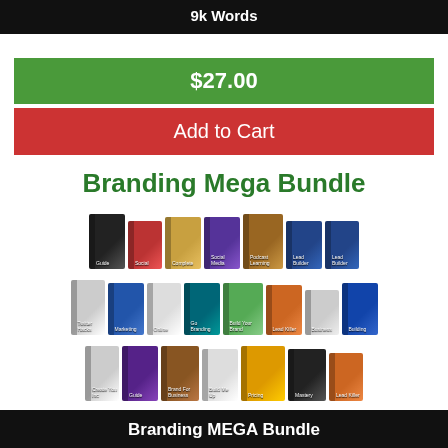9k Words
$27.00
Add to Cart
Branding Mega Bundle
[Figure (illustration): Collection of approximately 21 digital product/book cover images arranged in three rows, representing the Branding Mega Bundle product package]
Branding MEGA Bundle